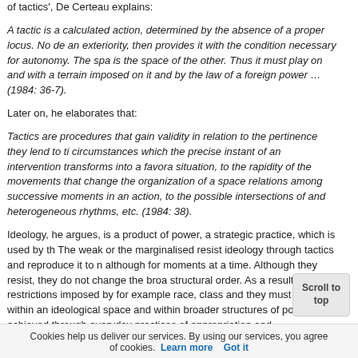of tactics', De Certeau explains:
A tactic is a calculated action, determined by the absence of a proper locus. No de an exteriority, then provides it with the condition necessary for autonomy. The spa is the space of the other. Thus it must play on and with a terrain imposed on it and by the law of a foreign power … (1984: 36-7).
Later on, he elaborates that:
Tactics are procedures that gain validity in relation to the pertinence they lend to ti circumstances which the precise instant of an intervention transforms into a favora situation, to the rapidity of the movements that change the organization of a space relations among successive moments in an action, to the possible intersections of and heterogeneous rhythms, etc. (1984: 38).
Ideology, he argues, is a product of power, a strategic practice, which is used by th The weak or the marginalised resist ideology through tactics and reproduce it to n although for moments at a time. Although they resist, they do not change the broa structural order. As a result of restrictions imposed by for example race, class and they must manage within an ideological space and within broader structures of po achieved through everyday practices of appropriation and cons which create room to move. These practices take place in a realm div actic where strategy and tactics (weak/strong) nt p consumption and tactics (weak/strong) ys.
Cookies help us deliver our services. By using our services, you agree of cookies.  Learn more  Got it